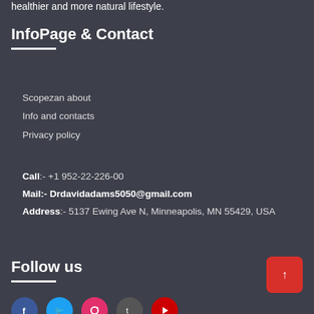healthier and more natural lifestyle.
InfoPage & Contact
Scopezan about
Info and contacts
Privacy policy
Call:- +1 952-22-226-00
Mail:- Drdavidadams5050@gmail.com
Address:- 5137 Ewing Ave N, Minneapolis, MN 55429, USA
Follow us
[Figure (illustration): Red rounded button with upward arrow for scrolling to top]
[Figure (illustration): Row of social media icon circles: Facebook (blue), Twitter (light blue), Instagram (pink/red), TikTok (grey), YouTube (red)]